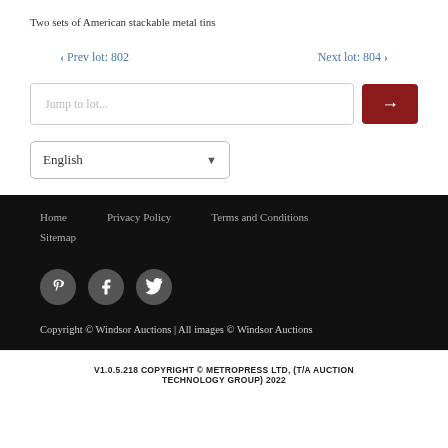Two sets of American stackable metal tins
< Prev lot: 802    Next lot: 804 >
Jump to lot...
English
Home   Privacy Policy   Terms and Conditions   Sitemap
Copyright © Windsor Auctions | All images © Windsor Auctions
V1.0.5.218 COPYRIGHT © METROPRESS LTD, (T/A AUCTION TECHNOLOGY GROUP) 2022